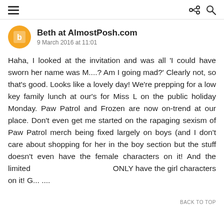Menu, Share, Search icons
Beth at AlmostPosh.com
9 March 2016 at 11:01
Haha, I looked at the invitation and was all 'I could have sworn her name was M....? Am I going mad?' Clearly not, so that's good. Looks like a lovely day! We're prepping for a low key family lunch at our's for Miss L on the public holiday Monday. Paw Patrol and Frozen are now on-trend at our place. Don't even get me started on the rapaging sexism of Paw Patrol merch being fixed largely on boys (and I don't care about shopping for her in the boy section but the stuff doesn't even have the female characters on it! And the limited ONLY have the girl characters on it! G... ....
BACK TO TOP